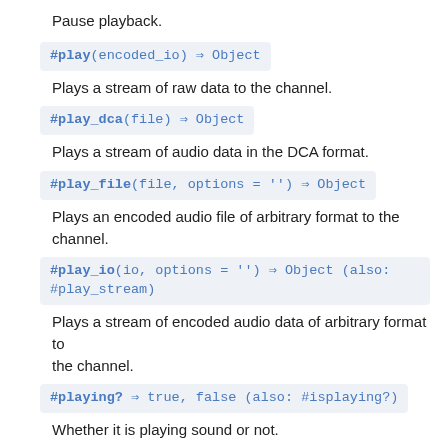Pause playback.
#play(encoded_io) ⇒ Object
Plays a stream of raw data to the channel.
#play_dca(file) ⇒ Object
Plays a stream of audio data in the DCA format.
#play_file(file, options = '') ⇒ Object
Plays an encoded audio file of arbitrary format to the channel.
#play_io(io, options = '') ⇒ Object (also: #play_stream)
Plays a stream of encoded audio data of arbitrary format to the channel.
#playing? ⇒ true, false (also: #isplaying?)
Whether it is playing sound or not.
#skip(secs) ⇒ Object
Skips to a later time in the song.